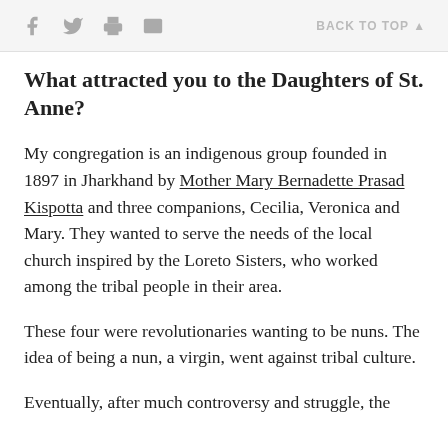f  [twitter]  [print]  [mail]  BACK TO TOP ▲
What attracted you to the Daughters of St. Anne?
My congregation is an indigenous group founded in 1897 in Jharkhand by Mother Mary Bernadette Prasad Kispotta and three companions, Cecilia, Veronica and Mary. They wanted to serve the needs of the local church inspired by the Loreto Sisters, who worked among the tribal people in their area.
These four were revolutionaries wanting to be nuns. The idea of being a nun, a virgin, went against tribal culture.
Eventually, after much controversy and struggle, the